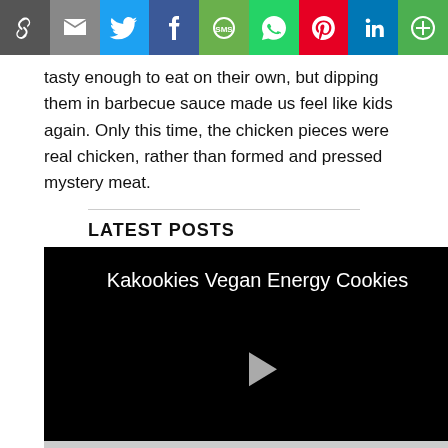[Figure (other): Social media sharing bar with icons: link, email, Twitter, Facebook, SMS, WhatsApp, Pinterest, LinkedIn, More]
tasty enough to eat on their own, but dipping them in barbecue sauce made us feel like kids again. Only this time, the chicken pieces were real chicken, rather than formed and pressed mystery meat.
LATEST POSTS
[Figure (screenshot): Black video player thumbnail with white title 'Kakookies Vegan Energy Cookies' and a white play button in the center]